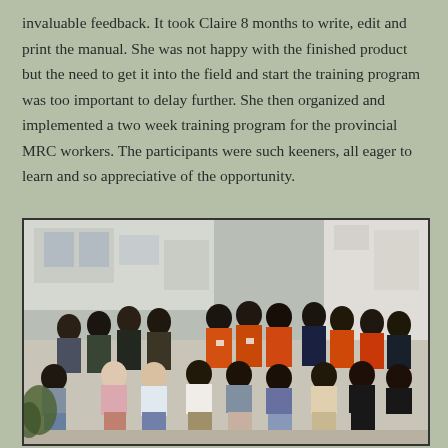invaluable feedback. It took Claire 8 months to write, edit and print the manual. She was not happy with the finished product but the need to get it into the field and start the training program was too important to delay further. She then organized and implemented a two week training program for the provincial MRC workers. The participants were such keeners, all eager to learn and so appreciative of the opportunity.
[Figure (photo): Group photo of approximately 25 people, men and women, posing outdoors in a courtyard in front of a white building. Some participants are standing in the back rows, others are seated or crouching in the front. Several people are wearing orange shirts. Two women in the front appear to be of non-African descent. The photo appears to be from the late 1980s or early 1990s.]